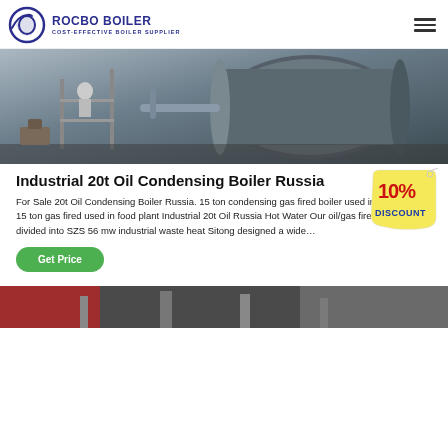ROCBO BOILER | COST-EFFECTIVE BOILER SUPPLIER
[Figure (photo): Workers servicing a large industrial boiler outdoors]
Industrial 20t Oil Condensing Boiler Russia
[Figure (infographic): 10% DISCOUNT badge/sticker]
For Sale 20t Oil Condensing Boiler Russia. 15 ton condensing gas fired boiler used in food plant. 15 ton gas fired used in food plant Industrial 20t Oil Russia Hot Water Our oil/gas fired can be divided into SZS 56 mw industrial waste heat Sitong designed a wide…
Get Price
[Figure (photo): Bottom partial photo of industrial boiler equipment]